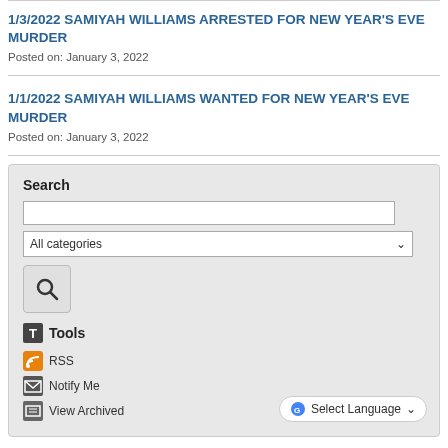1/3/2022 SAMIYAH WILLIAMS ARRESTED FOR NEW YEAR'S EVE MURDER
Posted on: January 3, 2022
1/1/2022 SAMIYAH WILLIAMS WANTED FOR NEW YEAR'S EVE MURDER
Posted on: January 3, 2022
Search
Tools
RSS
Notify Me
View Archived